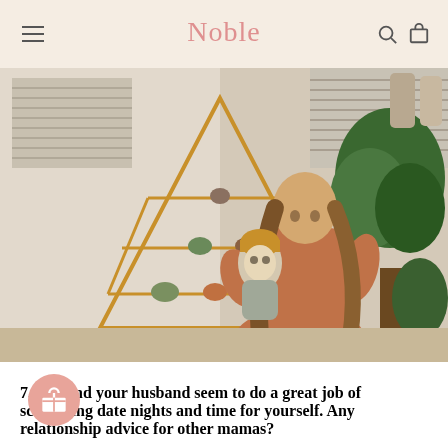Noble
[Figure (photo): A woman holding a baby in a yellow beanie, standing in front of a wooden pyramid-shaped shelf with plants and small items. The woman is wearing an orange/rust colored dress. Lush green plants are visible in the background near a window with blinds.]
7. You and your husband seem to do a great job of scheduling date nights and time for yourself. Any relationship advice for other mamas?